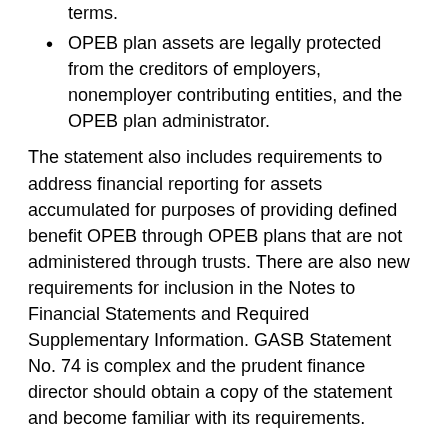terms.
OPEB plan assets are legally protected from the creditors of employers, nonemployer contributing entities, and the OPEB plan administrator.
The statement also includes requirements to address financial reporting for assets accumulated for purposes of providing defined benefit OPEB through OPEB plans that are not administered through trusts. There are also new requirements for inclusion in the Notes to Financial Statements and Required Supplementary Information. GASB Statement No. 74 is complex and the prudent finance director should obtain a copy of the statement and become familiar with its requirements.
GASB Statement No 75 (Titled "Accounting and Financial Rporting for Postemployment Benefits Other Than Pensions") replaces Statements Nos. 45 and 57. The Statement addresses accounting and financial reporting for OPEB that is provided to the employees of